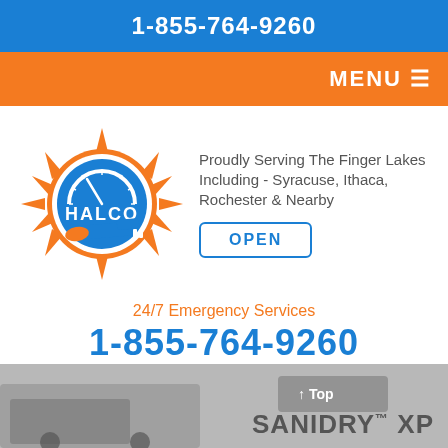1-855-764-9260
MENU ☰
[Figure (logo): HALCO company logo with orange sun/starburst, blue wrench/pipe and electrical plug imagery]
Proudly Serving The Finger Lakes Including - Syracuse, Ithaca, Rochester & Nearby
OPEN
24/7 Emergency Services
1-855-764-9260
or Contact Us Online
[Figure (photo): Bottom image showing a truck/vehicle in grayscale with SANIDRY™ XP text overlay and a Top button]
↑ Top
SANIDRY™ XP